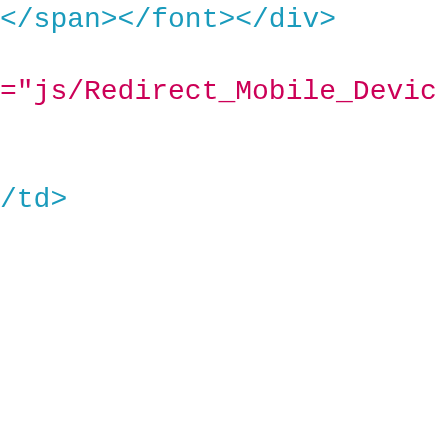[Figure (screenshot): Code editor screenshot showing HTML/template code fragment. Line 1 shows closing tags: </span></font></div> in blue/teal. Line 2 shows an attribute value fragment: ="js/Redirect_Mobile_Devic in magenta/pink. Line 3 shows a closing tag fragment: /td> in blue/teal. A vertical yellow/gold line divides the main code area from a narrow yellow margin on the right side.]